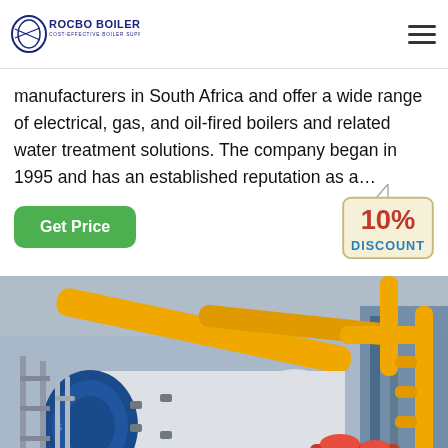ROCBO BOILER - COST-EFFECTIVE BOILER SUPPLIER
manufacturers in South Africa and offer a wide range of electrical, gas, and oil-fired boilers and related water treatment solutions. The company began in 1995 and has an established reputation as a…
[Figure (other): Green 'Get Price' button and a 10% DISCOUNT badge/tag]
[Figure (photo): Industrial boiler room with a large cylindrical blue and white boiler, yellow gas pipes, metal scaffolding, and red motor components]